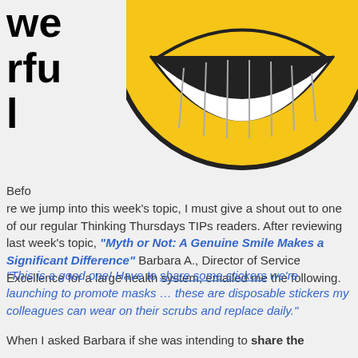wonderful
[Figure (illustration): Large yellow smiley face emoji showing teeth in a big grin, top half cropped, on a light gray background]
Before we jump into this week's topic, I must give a shout out to one of our regular Thinking Thursdays TIPs readers. After reviewing last week's topic, “Myth or Not: A Genuine Smile Makes a Significant Difference” Barbara A., Director of Service Excellence for a large health system, emailed me the following.
“This is a good one! Have to share some stickers we’re launching to promote masks … these are disposable stickers my colleagues can wear on their scrubs and replace daily.”
When I asked Barbara if she was intending to share the